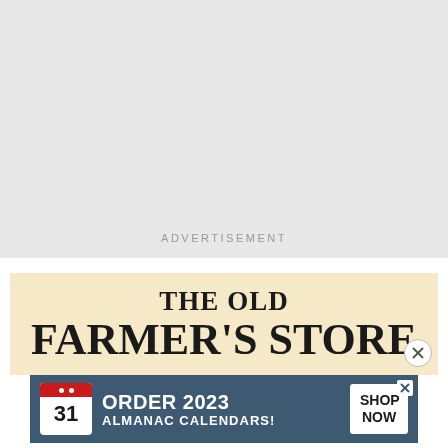[Figure (other): Gray placeholder rectangle for an advertisement]
ADVERTISEMENT
[Figure (other): The Old Farmer's Store advertisement banner with cream/beige background and bold serif text]
[Figure (other): Order 2023 Almanac Calendars advertisement banner with dark blue background, calendar icon showing 31, and Shop Now button]